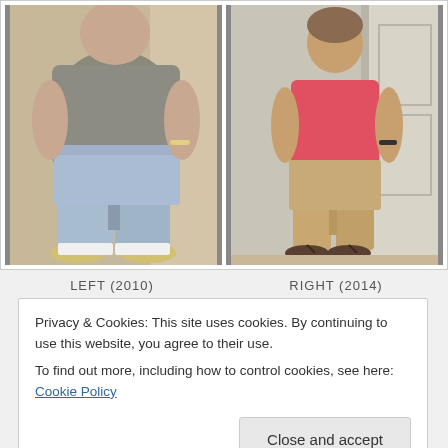[Figure (photo): Before and after weight loss comparison photos. Left photo (2010): person wearing gray shirt and light blue jean shorts, heavy build, wearing sneakers, standing in front of a door. Right photo (2014): same person wearing pink top and khaki shorts, noticeably slimmer, wearing flip flops, standing in front of a door.]
LEFT (2010)    RIGHT (2014)
Privacy & Cookies: This site uses cookies. By continuing to use this website, you agree to their use.
To find out more, including how to control cookies, see here: Cookie Policy
Close and accept